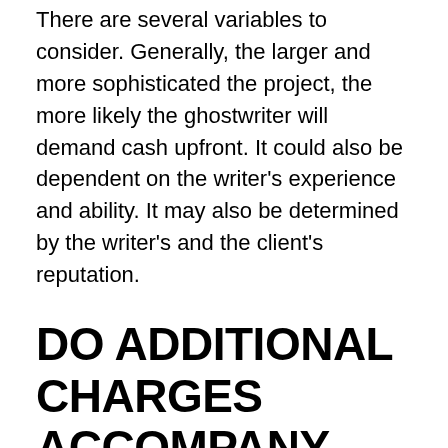There are several variables to consider. Generally, the larger and more sophisticated the project, the more likely the ghostwriter will demand cash upfront. It could also be dependent on the writer's experience and ability. It may also be determined by the writer's and the client's reputation.
DO ADDITIONAL CHARGES ACCOMPANY REVISIONS?
A set number of revisions are frequently integrated into the charge, depending on the